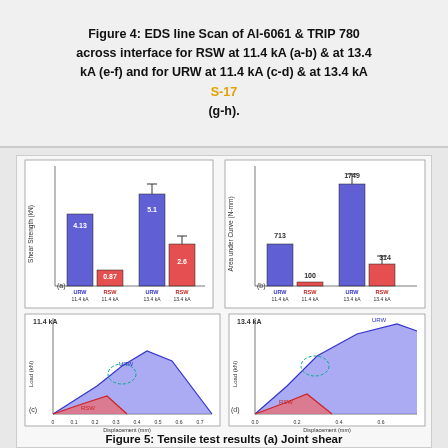Figure 4: EDS line Scan of Al-6061 & TRIP 780 across interface for RSW at 11.4 kA (a-b) & at 13.4 kA (e-f) and for URW at 11.4 kA (c-d) & at 13.4 kA S-17 (g-h).
[Figure (grouped-bar-chart): Tensile test results (a) Joint shear]
Figure 5: Tensile test results (a) Joint shear